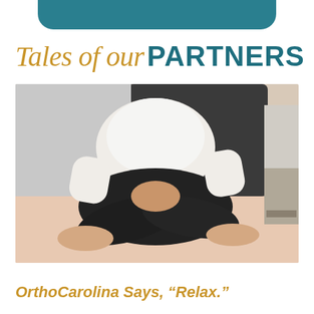[Figure (other): Teal/dark cyan decorative bar at the top center of the page]
Tales of our PARTNERS
[Figure (photo): A person dressed in a white top and black pants sitting cross-legged in a meditation pose on a bed, hands folded in lap, with a dark headboard and light pink bedding visible in the background.]
OrthoCarolina Says, “Relax.”